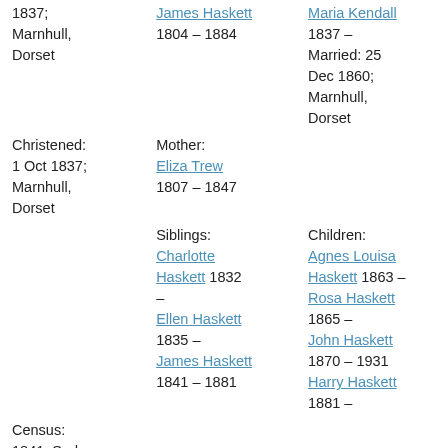| Column1 | Column2 | Column3 |
| --- | --- | --- |
| 1837; Marnhull, Dorset | James Haskett 1804 – 1884 | Maria Kendall 1837 – Married: 25 Dec 1860; Marnhull, Dorset |
| Christened: 1 Oct 1837; Marnhull, Dorset | Mother: Eliza Trew 1807 – 1847 |  |
| Census: 1841: Sodom, Marnhull, Dorset
1851: High Street, Shaftesbury St Peters, Dorset
1861: Salisbury St, Marnhull, Dorset
1901: Phillips... | Siblings: Charlotte Haskett 1832 – Ellen Haskett 1835 – James Haskett 1841 – 1881 | Children: Agnes Louisa Haskett 1863 – Rosa Haskett 1865 – John Haskett 1870 – 1931 Harry Haskett 1881 – |